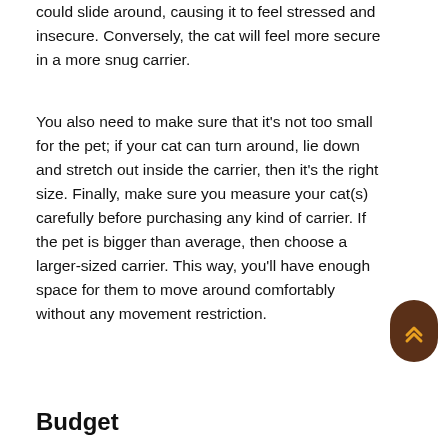could slide around, causing it to feel stressed and insecure. Conversely, the cat will feel more secure in a more snug carrier.
You also need to make sure that it's not too small for the pet; if your cat can turn around, lie down and stretch out inside the carrier, then it's the right size. Finally, make sure you measure your cat(s) carefully before purchasing any kind of carrier. If the pet is bigger than average, then choose a larger-sized carrier. This way, you'll have enough space for them to move around comfortably without any movement restriction.
Budget